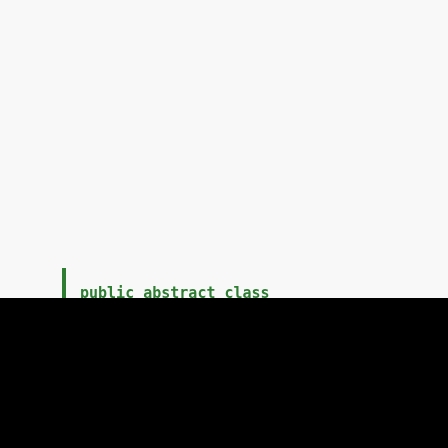public abstract class ConcurrentAccessExperiment {

    public final Map<String,String> doWork(Map<String,String> map, int threads, int slots) {
        CompletableFuture<?>[] requests = new
[Figure (screenshot): Black video player area with a white play button triangle in the center]